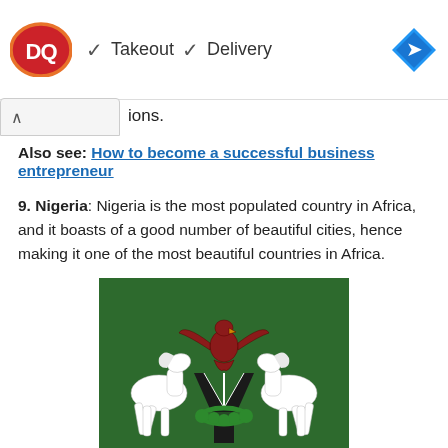[Figure (logo): Dairy Queen DQ logo (red ellipse with DQ letters), followed by checkmarks next to 'Takeout' and 'Delivery' text, and a blue navigation diamond icon on the right]
ions.
Also see: How to become a successful business entrepreneur
9. Nigeria: Nigeria is the most populated country in Africa, and it boasts of a good number of beautiful cities, hence making it one of the most beautiful countries in Africa.
[Figure (illustration): Nigeria coat of arms on green background: a red eagle atop a black shield, flanked by two white horses]